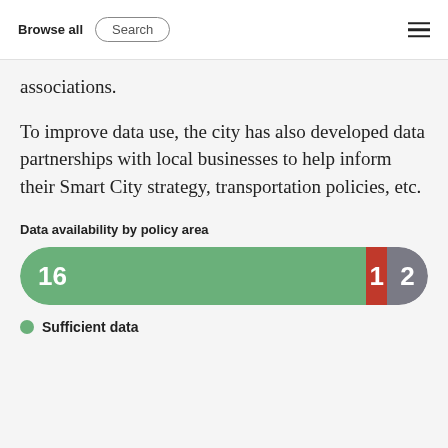Browse all | Search
associations.
To improve data use, the city has also developed data partnerships with local businesses to help inform their Smart City strategy, transportation policies, etc.
Data availability by policy area
[Figure (stacked-bar-chart): Data availability by policy area]
Sufficient data